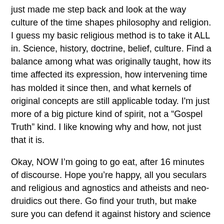just made me step back and look at the way culture of the time shapes philosophy and religion. I guess my basic religious method is to take it ALL in. Science, history, doctrine, belief, culture. Find a balance among what was originally taught, how its time affected its expression, how intervening time has molded it since then, and what kernels of original concepts are still applicable today. I'm just more of a big picture kind of spirit, not a “Gospel Truth” kind. I like knowing why and how, not just that it is.
Okay, NOW I'm going to go eat, after 16 minutes of discourse. Hope you’re happy, all you seculars and religious and agnostics and atheists and neo-druidics out there. Go find your truth, but make sure you can defend it against history and science before you try evangelizing.